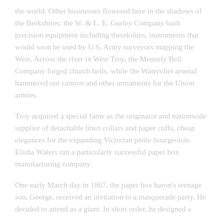the world. Other businesses flowered here in the shadows of the Berkshires: the W. & L. E. Gurley Company built precision equipment including theodolites, instruments that would soon be used by U.S. Army surveyors mapping the West. Across the river in West Troy, the Meneely Bell Company forged church bells, while the Watervliet arsenal hammered out cannon and other armaments for the Union armies.
Troy acquired a special fame as the originator and nationwide supplier of detachable linen collars and paper cuffs, cheap elegances for the expanding Victorian petite bourgeoisie. Elisha Waters ran a particularly successful paper box manufacturing company.
One early March day in 1867, the paper box baron's teenage son, George, received an invitation to a masquerade party. He decided to attend as a giant. In short order, he designed a